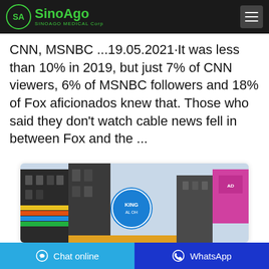SinoAgo Medical Corp
CNN, MSNBC ...19.05.2021·It was less than 10% in 2019, but just 7% of CNN viewers, 6% of MSNBC followers and 18% of Fox aficionados knew that. Those who said they don't watch cable news fell in between Fox and the ...
[Figure (photo): Times Square urban street scene with tall buildings, colorful LED billboards, and blue circular logo sign reading 'KING AL OH', with pink and multicolored advertisements visible.]
Chat online | WhatsApp